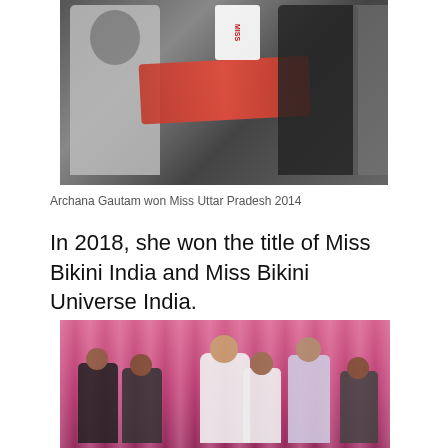[Figure (photo): Photo showing a man in a grey jacket alongside women, one holding a red decorative sash/award at what appears to be the Miss Uttar Pradesh 2014 pageant event.]
Archana Gautam won Miss Uttar Pradesh 2014
In 2018, she won the title of Miss Bikini India and Miss Bikini Universe India.
[Figure (photo): Photo of a beauty pageant crowning ceremony on a stage with pink curtains/backdrop. Several people including the winner in white and a woman in dark clothing are visible.]